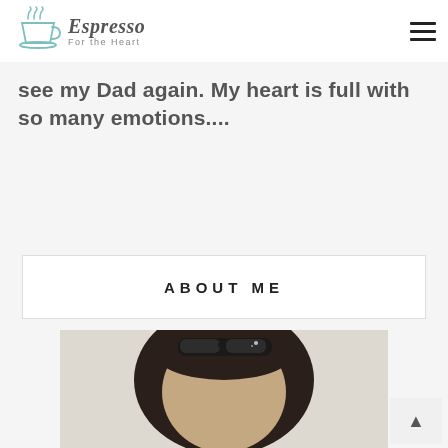Espresso For the Heart
see my Dad again. My heart is full with so many emotions....
ABOUT ME
[Figure (photo): Portrait photo of a woman with dark hair and sunglasses on top of her head]